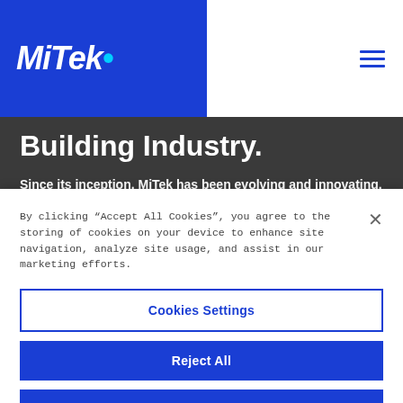[Figure (logo): MiTek logo in white italic bold text on blue background]
Building Industry.
Since its inception, MiTek has been evolving and innovating. Out of our early beginnings manufacturing steel connector
By clicking “Accept All Cookies”, you agree to the storing of cookies on your device to enhance site navigation, analyze site usage, and assist in our marketing efforts.
Cookies Settings
Reject All
Accept All Cookies